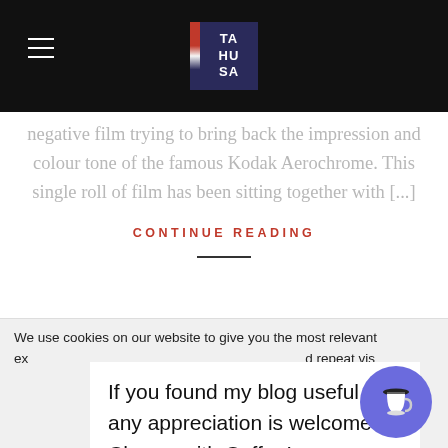[Figure (logo): TAHUSA logo in dark blue box with red/white stripe on left side, on black navigation bar with hamburger menu icon]
negative film trying to bring back the impression and colour tone of the famous Kodak Aerochrome. This single roll of film has been sitting together with [...]
CONTINUE READING
We use cookies on our website to give you the most relevant experience by remembering your preferences and repeat visits. By clicking "Accept All", you consent to the use of ALL the cookies. However, you may visit "Cookie Settings" to provide a controlled consent.
If you found my blog useful, any appreciation is welcomed. Cheers with Coffee!